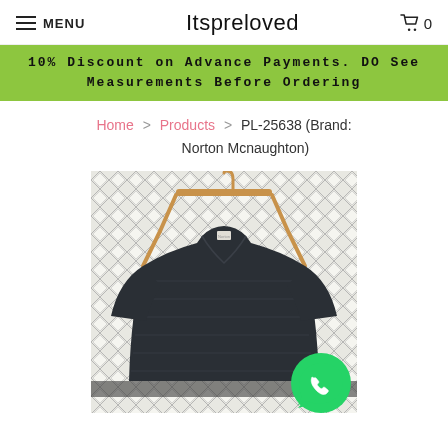MENU | Itspreloved | Cart 0
10% Discount on Advance Payments. DO See Measurements Before Ordering
Home > Products > PL-25638 (Brand: Norton Mcnaughton)
[Figure (photo): A dark navy/black ribbed knit top or dress hanging on a wooden hanger, displayed against a white diamond lattice/tile wall background. The garment has a V-neckline and short sleeves. A green WhatsApp call button is visible in the bottom right corner.]